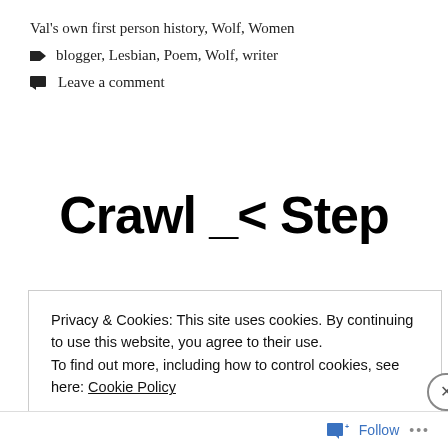Val's own first person history, Wolf, Women
blogger, Lesbian, Poem, Wolf, writer
Leave a comment
Crawl _< Step
Privacy & Cookies: This site uses cookies. By continuing to use this website, you agree to their use. To find out more, including how to control cookies, see here: Cookie Policy
Close and accept
Follow ...